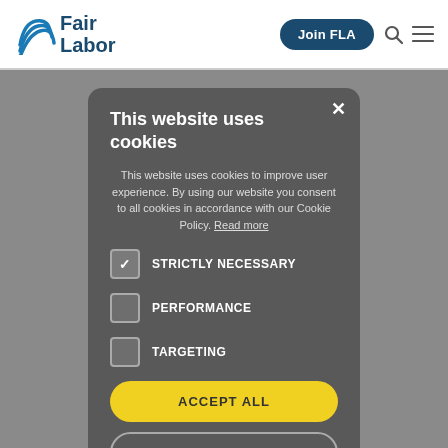[Figure (screenshot): Navigation bar with Fair Labor logo on left, Join FLA button in center-right, search and menu icons on far right]
This website uses cookies
This website uses cookies to improve user experience. By using our website you consent to all cookies in accordance with our Cookie Policy. Read more
STRICTLY NECESSARY (checked)
PERFORMANCE (unchecked)
TARGETING (unchecked)
ACCEPT ALL
DECLINE ALL